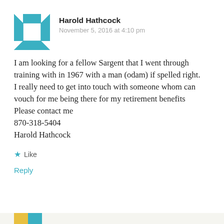[Figure (illustration): Teal and white geometric quilt-pattern avatar icon in a square frame]
Harold Hathcock
November 5, 2016 at 4:10 pm
I am looking for a fellow Sargent that I went through training with in 1967 with a man (odam) if spelled right.
I really need to get into touch with someone whom can vouch for me being there for my retirement benefits
Please contact me
870-318-5404
Harold Hathcock
★ Like
Reply